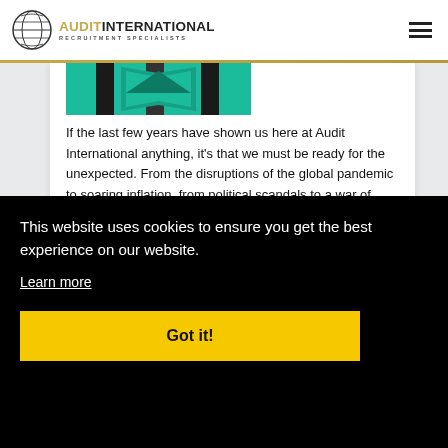AUDIT INTERNATIONAL RECRUITMENT SPECIALISTS
[Figure (screenshot): Thumbnail image with teal/green background and dark vertical stripes with a downward arrow shape]
If the last few years have shown us here at Audit International anything, it’s that we must be ready for the unexpected. From the disruptions of the global pandemic to soaring inflation, from political scandals to a war of aggression in Ukraine—life as we know it is changing.
This website uses cookies to ensure you get the best experience on our website.
Learn more
Got it!
also add to the pressures the global public